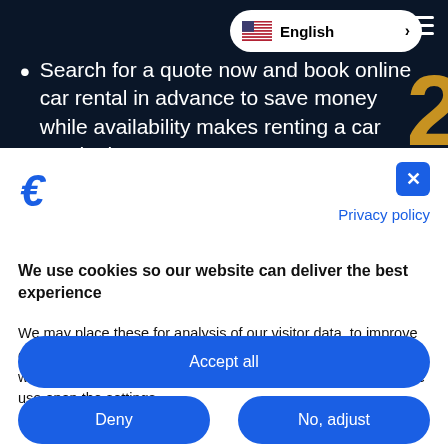Search for a quote now and book online car rental in advance to save money while availability makes renting a car much cheaper.
[Figure (logo): Rentalcars.com or similar car rental brand logo icon in blue]
Privacy policy
We use cookies so our website can deliver the best experience
We may place these for analysis of our visitor data, to improve our website, show personalised content and to give you a great website experience. For more information about the cookies we use open the settings.
Accept all
Deny
No, adjust